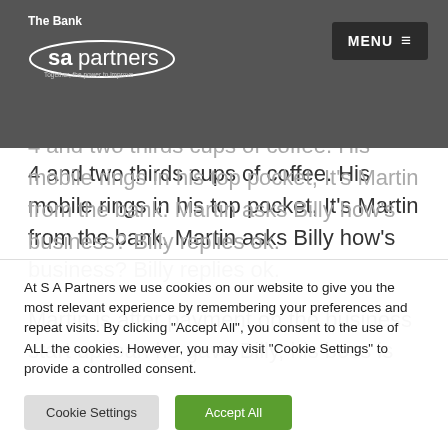The Bank
[Figure (logo): SA Partners logo with oval shape and tagline 'Together, the power to improve']
...chair in his empty ca... 4 and two thirds cups of coffee. His mobile rings in his top pocket, It's Martin from the bank. Martin asks Billy how's business? Billy replies ok.
Martin is after payment on the business start up loan he gave Billy, his boss is
At S A Partners we use cookies on our website to give you the most relevant experience by remembering your preferences and repeat visits. By clicking "Accept All", you consent to the use of ALL the cookies. However, you may visit "Cookie Settings" to provide a controlled consent.